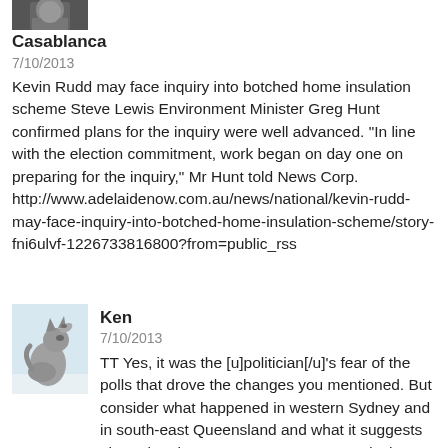[Figure (photo): Small avatar photo of Casablanca user, dark/black and white portrait image cropped at top]
Casablanca
7/10/2013
Kevin Rudd may face inquiry into botched home insulation scheme Steve Lewis Environment Minister Greg Hunt confirmed plans for the inquiry were well advanced. "In line with the election commitment, work began on day one on preparing for the inquiry," Mr Hunt told News Corp. http://www.adelaidenow.com.au/news/national/kevin-rudd-may-face-inquiry-into-botched-home-insulation-scheme/story-fni6ulvf-1226733816800?from=public_rss
[Figure (photo): Avatar photo of Ken user showing a wolf or coyote howling against a light blue/white sky]
Ken
7/10/2013
TT Yes, it was the [u]politician[/u]'s fear of the polls that drove the changes you mentioned. But consider what happened in western Sydney and in south-east Queensland and what it suggests about the electorate's response to Murdoch's headlines. I agree that in a macro sense Murdoch got the government he wants but I think it somewhat